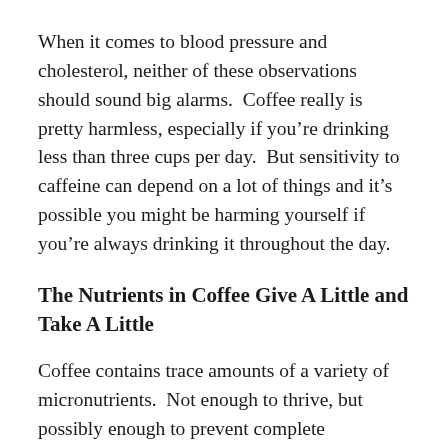When it comes to blood pressure and cholesterol, neither of these observations should sound big alarms.  Coffee really is pretty harmless, especially if you're drinking less than three cups per day.  But sensitivity to caffeine can depend on a lot of things and it's possible you might be harming yourself if you're always drinking it throughout the day.
The Nutrients in Coffee Give A Little and Take A Little
Coffee contains trace amounts of a variety of micronutrients.  Not enough to thrive, but possibly enough to prevent complete deficiency.  In fact, coffee might even be the